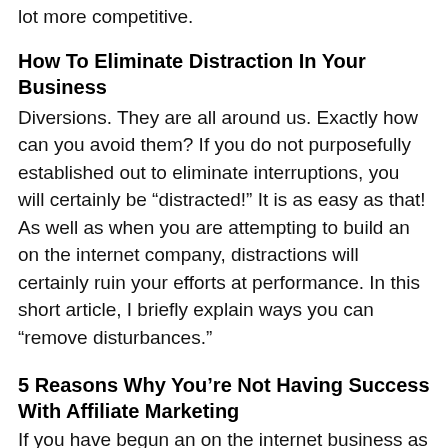lot more competitive.
How To Eliminate Distraction In Your Business
Diversions. They are all around us. Exactly how can you avoid them? If you do not purposefully established out to eliminate interruptions, you will certainly be “distracted!” It is as easy as that! As well as when you are attempting to build an on the internet company, distractions will certainly ruin your efforts at performance. In this short article, I briefly explain ways you can “remove disturbances.”
5 Reasons Why You’re Not Having Success With Affiliate Marketing
If you have begun an on the internet business as an Associate Marketing professional yet you are not having the success you would like its feasible several of the 5